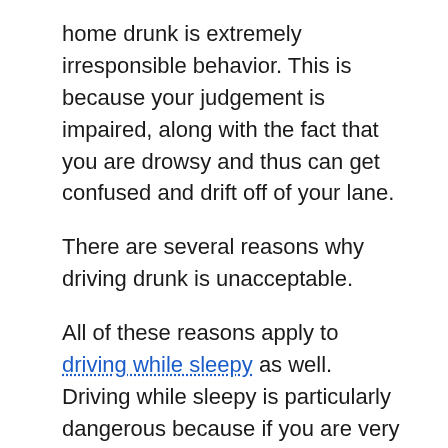home drunk is extremely irresponsible behavior. This is because your judgement is impaired, along with the fact that you are drowsy and thus can get confused and drift off of your lane.
There are several reasons why driving drunk is unacceptable.
All of these reasons apply to driving while sleepy as well. Driving while sleepy is particularly dangerous because if you are very sleep deprived you can end up suffering from instances of micro sleep.
Micro sleep would be a moment of